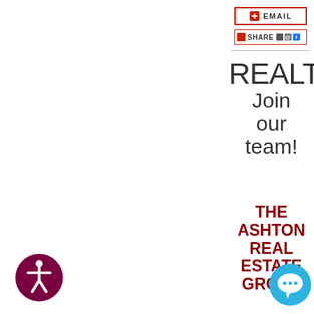[Figure (screenshot): Email button with red plus icon and text EMAIL]
[Figure (screenshot): Share button with red square icon and social sharing icons]
REALTOR Join our team!
THE ASHTON REAL ESTATE GROUP
We're always looking for talented real estate agents to join our growing team. If you have excellent knowledge of
[Figure (illustration): Accessibility icon — person figure in dark red/maroon circle]
[Figure (illustration): Blue chat bubble / support icon]